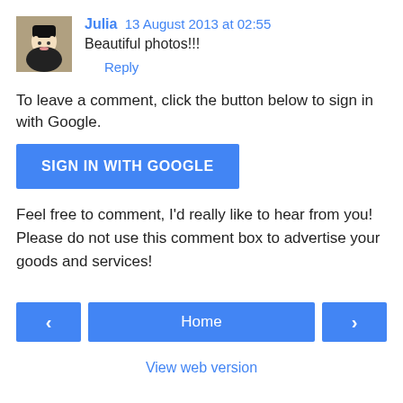Julia  13 August 2013 at 02:55
Beautiful photos!!!
Reply
To leave a comment, click the button below to sign in with Google.
[Figure (other): Blue button labeled SIGN IN WITH GOOGLE]
Feel free to comment, I'd really like to hear from you!
Please do not use this comment box to advertise your goods and services!
[Figure (other): Navigation bar with left arrow button, Home button, and right arrow button]
View web version